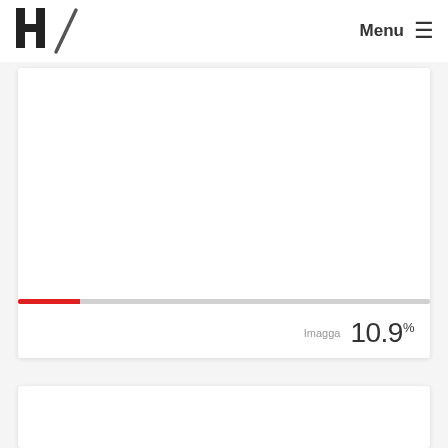H/ Menu
Imagga 10.9%
[Figure (screenshot): White card area with a red/grey progress bar at the bottom showing partial progress, and a label 'Imagga 10.9%' in the lower right]
[Figure (screenshot): Partial white card at the bottom of the page, mostly blank]